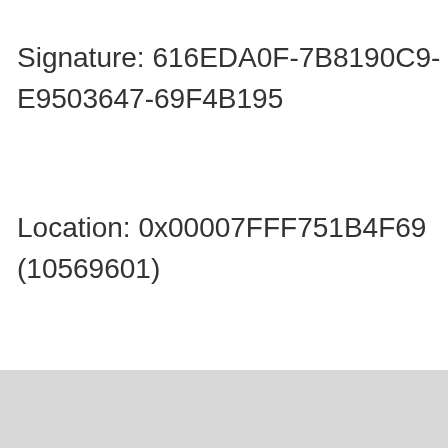Signature: 616EDA0F-7B8190C9-E9503647-69F4B195
Location: 0x00007FFF751B4F69 (10569601)